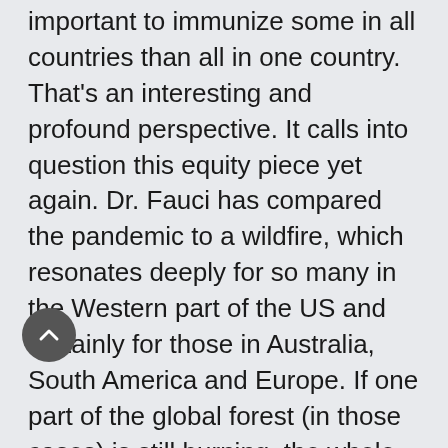important to immunize some in all countries than all in one country. That's an interesting and profound perspective. It calls into question this equity piece yet again. Dr. Fauci has compared the pandemic to a wildfire, which resonates deeply for so many in the Western part of the US and certainly for those in Australia, South America and Europe. If one part of the global forest (in those cases) is still burning, the whole forest is still at risk.
We've lost trust in some of our systems. I believe wholeheartedly we will have a harder time building trust in this vaccine and the process used to arrive at it. Because of this loss of trust, we're going to have fewer people volunteer to get the vaccine up front. Fewer people perhaps that are willing to get it even over time. Again, if